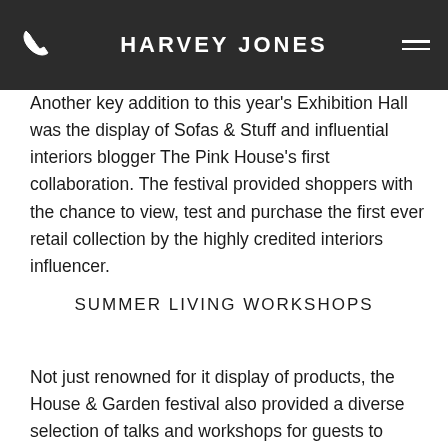HARVEY JONES
Another key addition to this year's Exhibition Hall was the display of Sofas & Stuff and influential interiors blogger The Pink House's first collaboration. The festival provided shoppers with the chance to view, test and purchase the first ever retail collection by the highly credited interiors influencer.
SUMMER LIVING WORKSHOPS
Not just renowned for it display of products, the House & Garden festival also provided a diverse selection of talks and workshops for guests to enjoy and gain knowledge from. The summer living workshops, hosted by a strong